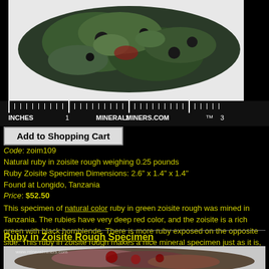[Figure (photo): Ruby in zoisite rough mineral specimen photographed on white background with ruler showing approximately 2.6 inches length, branded with MINERALMINERS.COM TM]
Add to Shopping Cart
Code: zoim109
Natural ruby in zoisite rough weighing 0.25 pounds
Ruby Zoisite Specimen Dimensions: 2.6" x 1.4" x 1.4"
Found at Longido, Tanzania
Price: $52.50
This specimen of natural color ruby in green zoisite rough was mined in Tanzania. The rubies have very deep red color, and the zoisite is a rich green with black hornblende. There is more ruby exposed on the opposite side. This ruby in zoisite rough makes a nice mineral specimen just as it is, although it could also be used as superior grade lapidary rough.
Ruby in Zoisite Rough Specimen
[Figure (photo): Ruby in zoisite rough specimen photo preview with www.mineralminers.com watermark]